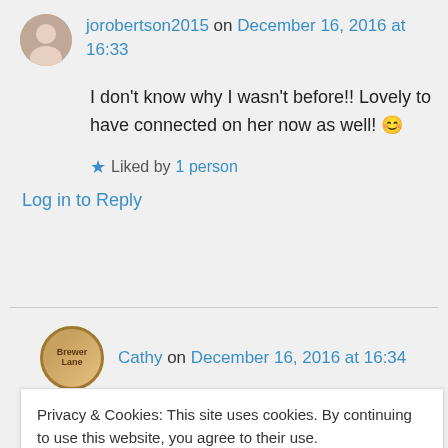jorobertson2015 on December 16, 2016 at 16:33
I don't know why I wasn't before!! Lovely to have connected on her now as well! 😊
★ Liked by 1 person
Log in to Reply
Cathy on December 16, 2016 at 16:34
Privacy & Cookies: This site uses cookies. By continuing to use this website, you agree to their use.
To find out more, including how to control cookies, see here: Cookie Policy
Close and accept
The Book Whisperer on January 9, 2017 at 13:03